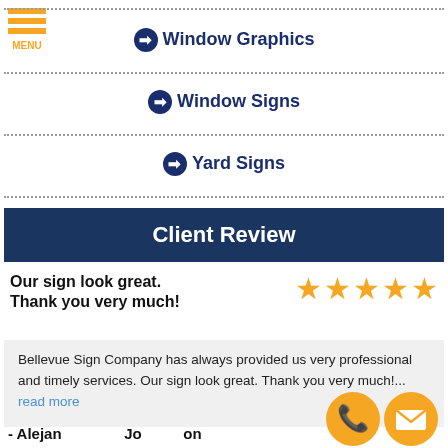[Figure (logo): Orange hamburger menu icon with three horizontal bars and MENU label]
Window Graphics
Window Signs
Yard Signs
Client Review
Our sign look great. Thank you very much!
Bellevue Sign Company has always provided us very professional and timely services. Our sign look great. Thank you very much!... read more
- Alejandro Johnson